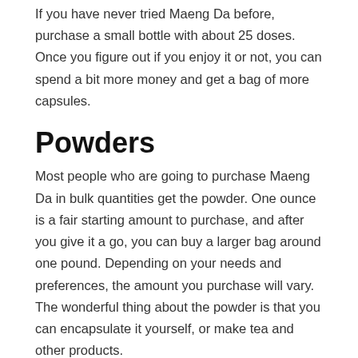If you have never tried Maeng Da before, purchase a small bottle with about 25 doses. Once you figure out if you enjoy it or not, you can spend a bit more money and get a bag of more capsules.
Powders
Most people who are going to purchase Maeng Da in bulk quantities get the powder. One ounce is a fair starting amount to purchase, and after you give it a go, you can buy a larger bag around one pound. Depending on your needs and preferences, the amount you purchase will vary. The wonderful thing about the powder is that you can encapsulate it yourself, or make tea and other products.
The Maeng Da Difference
The primary quality of Maeng Da that sets it apart from other strains is its unique concentration of mitragynine and